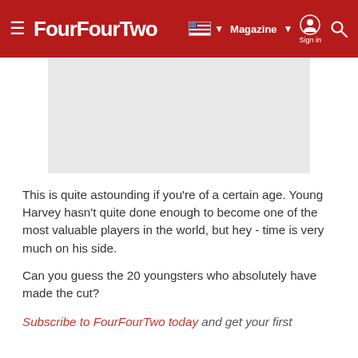FourFourTwo — Magazine | Sign in | Search
[Figure (photo): Gray placeholder image area representing a photo]
This is quite astounding if you're of a certain age. Young Harvey hasn't quite done enough to become one of the most valuable players in the world, but hey - time is very much on his side.
Can you guess the 20 youngsters who absolutely have made the cut?
Subscribe to FourFourTwo today and get your first